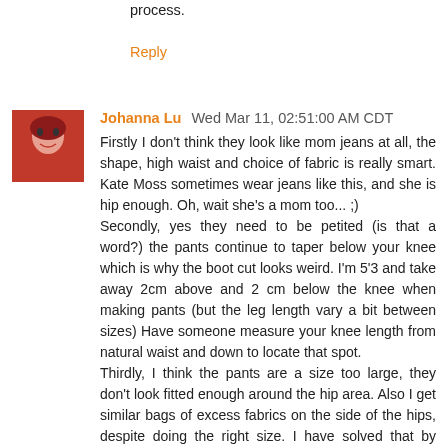process.
Reply
Johanna Lu  Wed Mar 11, 02:51:00 AM CDT
Firstly I don't think they look like mom jeans at all, the shape, high waist and choice of fabric is really smart. Kate Moss sometimes wear jeans like this, and she is hip enough. Oh, wait she's a mom too... ;)
Secondly, yes they need to be petited (is that a word?) the pants continue to taper below your knee which is why the boot cut looks weird. I'm 5'3 and take away 2cm above and 2 cm below the knee when making pants (but the leg length vary a bit between sizes) Have someone measure your knee length from natural waist and down to locate that spot.
Thirdly, I think the pants are a size too large, they don't look fitted enough around the hip area. Also I get similar bags of excess fabrics on the side of the hips, despite doing the right size. I have solved that by straightening out the curved hip shape that these patterns has. This works really well, and I highly recommend it when sewing in stretch fabrics since the pants mold themselfs anyway.